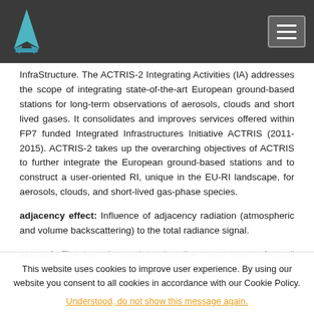Navigation bar with logo and menu button
InfraStructure. The ACTRIS-2 Integrating Activities (IA) addresses the scope of integrating state-of-the-art European ground-based stations for long-term observations of aerosols, clouds and short lived gases. It consolidates and improves services offered within FP7 funded Integrated Infrastructures Initiative ACTRIS (2011-2015). ACTRIS-2 takes up the overarching objectives of ACTRIS to further integrate the European ground-based stations and to construct a user-oriented RI, unique in the EU-RI landscape, for aerosols, clouds, and short-lived gas-phase species.
adjacency effect: Influence of adjacency radiation (atmospheric and volume backscattering) to the total radiance signal.
aerosol: The term is used to describe many types of small particles in the atmosphere that both absorb and reflect incoming...
This website uses cookies to improve user experience. By using our website you consent to all cookies in accordance with our Cookie Policy.
Understood, do not show this message again.